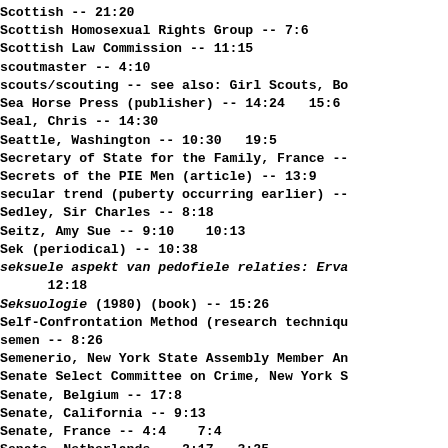Scottish -- 21:20
Scottish Homosexual Rights Group -- 7:6
Scottish Law Commission -- 11:15
scoutmaster -- 4:10
scouts/scouting -- see also: Girl Scouts, Bo
Sea Horse Press (publisher) -- 14:24   15:6
Seal, Chris -- 14:30
Seattle, Washington -- 10:30   19:5
Secretary of State for the Family, France --
Secrets of the PIE Men (article) -- 13:9
secular trend (puberty occurring earlier) --
Sedley, Sir Charles -- 8:18
Seitz, Amy Sue -- 9:10    10:13
Sek (periodical) -- 10:38
seksuele aspekt van pedofiele relaties: Erva
12:18
Seksuologie (1980) (book) -- 15:26
Self-Confrontation Method (research techniqu
semen -- 8:26
Semenerio, New York State Assembly Member An
Senate Select Committee on Crime, New York S
Senate, Belgium -- 17:8
Senate, California -- 9:13
Senate, France -- 4:4    7:4
Senate, Netherlands -- 2:17   3:25